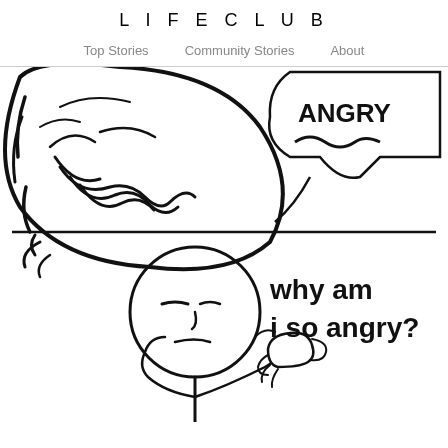LIFECLUB
Top Stories   Community Stories   About
[Figure (illustration): Two-panel comic strip. Top panel: a rage-face style character yelling with speech bubble saying 'ANGRY' with squiggly lines. Bottom panel: a stick-figure character with a thoughtful/skeptical expression holding a cup of tea, with text 'why am i so angry?']